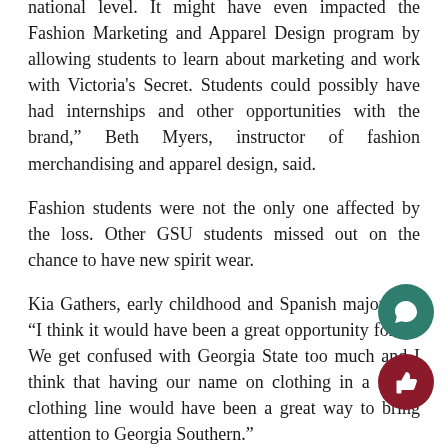national level. It might have even impacted the Fashion Marketing and Apparel Design program by allowing students to learn about marketing and work with Victoria's Secret. Students could possibly have had internships and other opportunities with the brand," Beth Myers, instructor of fashion merchandising and apparel design, said.
Fashion students were not the only one affected by the loss. Other GSU students missed out on the chance to have new spirit wear.
Kia Gathers, early childhood and Spanish major said “I think it would have been a great opportunity for us. We get confused with Georgia State too much and I think that having our name on clothing in a major clothing line would have been a great way to bring attention to Georgia Southern.”
[Figure (other): Teal circular comment/chat icon button (floating action button)]
[Figure (other): Dark red circular thumbs-up like icon button (floating action button)]